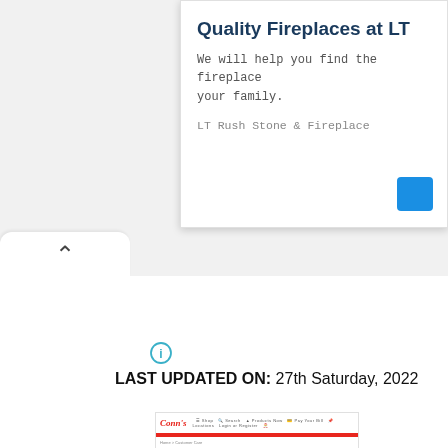[Figure (screenshot): Ad banner for LT Rush Stone & Fireplace with title 'Quality Fireplaces at LT', body text about finding the right fireplace, advertiser name, and a blue button]
[Figure (screenshot): Browser UI element showing an upward-pointing chevron arrow tab button on a white card]
[Figure (other): Info (i) icon in a circle, teal/blue color]
LAST UPDATED ON: 27th Saturday, 2022
[Figure (screenshot): Thumbnail screenshot of Conn's website showing the Conn's logo navigation bar and 'Careers at Conn's' page heading]